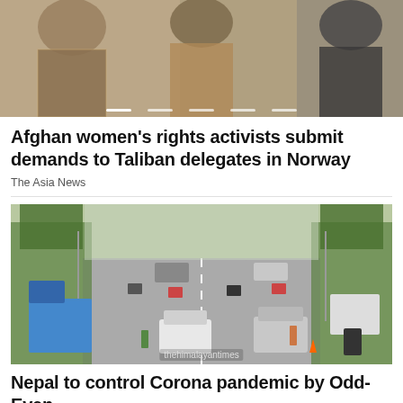[Figure (photo): Photo of people at a gathering, partial view of individuals in winter clothing]
Afghan women's rights activists submit demands to Taliban delegates in Norway
The Asia News
[Figure (photo): Busy road scene in Nepal with motorcycles, cars, trucks and pedestrians on a multi-lane road lined with trees and lamp posts. Credit: thehimalayantimes]
Nepal to control Corona pandemic by Odd-Even